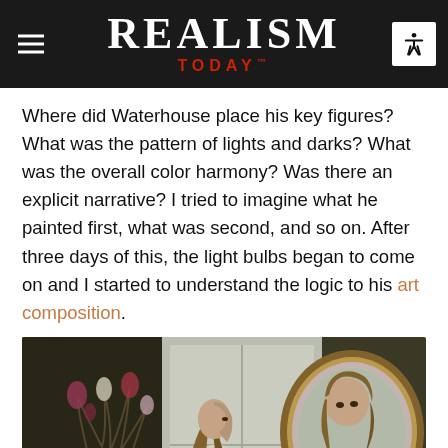REALISM TODAY
Where did Waterhouse place his key figures? What was the pattern of lights and darks? What was the overall color harmony? Was there an explicit narrative? I tried to imagine what he painted first, what was second, and so on. After three days of this, the light bulbs began to come on and I started to understand the logic to his art composition.
[Figure (photo): A realist oil painting showing a young woman with long braided hair wearing a white dress, seen from behind/side, looking at her reflection in an ornate round mirror. A vase of flowers is visible on the left side of the composition.]